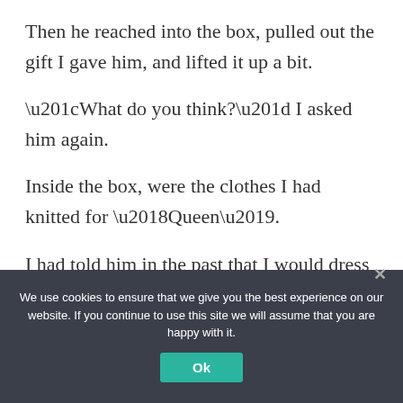Then he reached into the box, pulled out the gift I gave him, and lifted it up a bit.
“What do you think?” I asked him again.
Inside the box, were the clothes I had knitted for ‘Queen’.
I had told him in the past that I would dress him if he appeared in front of me again in ‘Queen’ form.
We use cookies to ensure that we give you the best experience on our website. If you continue to use this site we will assume that you are happy with it.